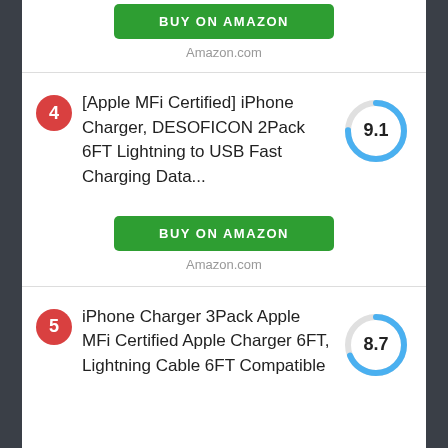BUY ON AMAZON
Amazon.com
[Apple MFi Certified] iPhone Charger, DESOFICON 2Pack 6FT Lightning to USB Fast Charging Data...
[Figure (donut-chart): Score 9.1]
BUY ON AMAZON
Amazon.com
iPhone Charger 3Pack Apple MFi Certified Apple Charger 6FT, Lightning Cable 6FT Compatible
[Figure (donut-chart): Score 8.7]